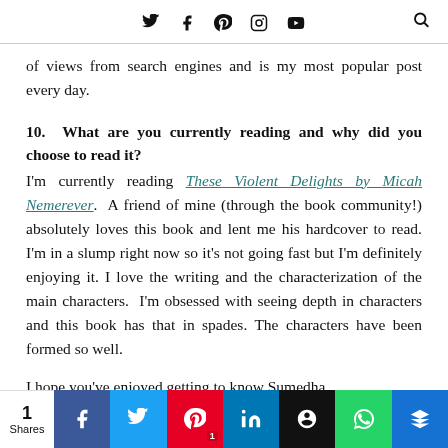Twitter Facebook Pinterest Instagram YouTube Search
of views from search engines and is my most popular post every day.
10.  What are you currently reading and why did you choose to read it?
I'm currently reading These Violent Delights by Micah Nemerever. A friend of mine (through the book community!) absolutely loves this book and lent me his hardcover to read. I'm in a slump right now so it's not going fast but I'm definitely enjoying it. I love the writing and the characterization of the main characters. I'm obsessed with seeing depth in characters and this book has that in spades. The characters have been formed so well.
I hope you've enjoyed getting to know Sumedha